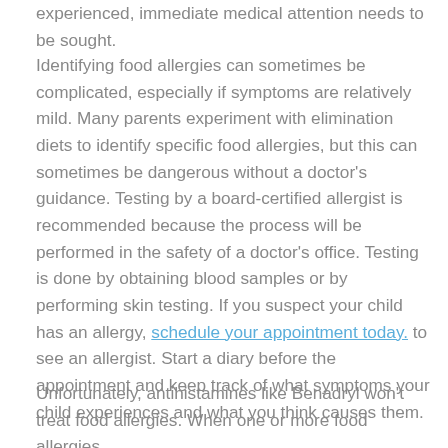experienced, immediate medical attention needs to be sought.
Identifying food allergies can sometimes be complicated, especially if symptoms are relatively mild. Many parents experiment with elimination diets to identify specific food allergies, but this can sometimes be dangerous without a doctor's guidance. Testing by a board-certified allergist is recommended because the process will be performed in the safety of a doctor's office. Testing is done by obtaining blood samples or by performing skin testing. If you suspect your child has an allergy, schedule your appointment today. to see an allergist. Start a diary before the appointment and keep track of what symptoms your child experiences and what you think causes them.
Unfortunately, antihistamines like Benadryl won't treat food allergies. When one or more food allergies